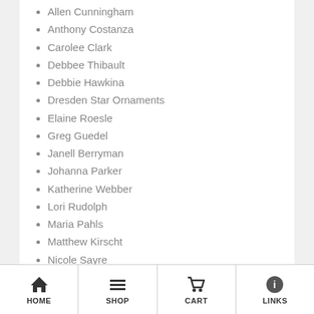Allen Cunningham
Anthony Costanza
Carolee Clark
Debbee Thibault
Debbie Hawkina
Dresden Star Ornaments
Elaine Roesle
Greg Guedel
Janell Berryman
Johanna Parker
Katherine Webber
Lori Rudolph
Maria Pahls
Matthew Kirscht
Nicole Sayre
Paper Moon Gallery
Scott Smith, Rucus Studio
HOME   SHOP   CART   LINKS